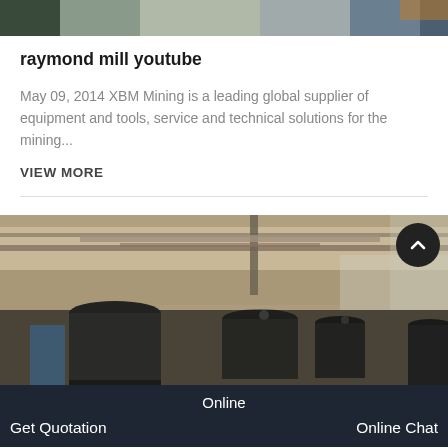[Figure (photo): Partial top view of industrial machinery or mining equipment, cropped]
raymond mill youtube
May 09, 2014 XBM Mining is a leading global supplier of equipment and tools, service and technical solutions for the mining...
VIEW MORE
[Figure (photo): Interior of a factory or industrial facility showing large cylindrical tanks and industrial equipment, with overhead structure visible]
Online  Get Quotation  Online Chat